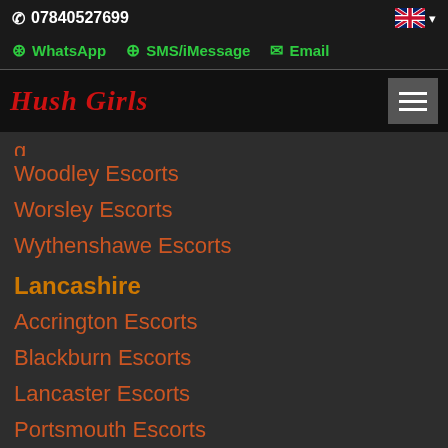07840527699
WhatsApp  SMS/iMessage  Email
Hush Girls
Woodley Escorts
Worsley Escorts
Wythenshawe Escorts
Lancashire
Accrington Escorts
Blackburn Escorts
Lancaster Escorts
Portsmouth Escorts
Preston Escorts